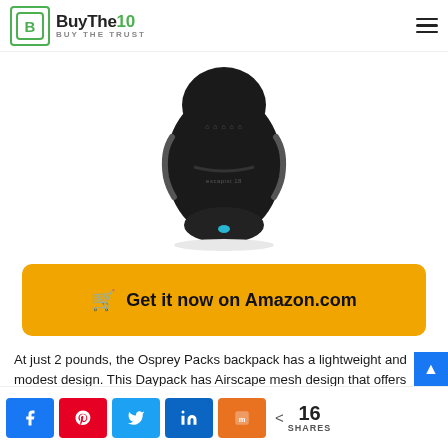BuyThe10 - Buy The Trust
[Figure (photo): Osprey Packs Escapist 18 black backpack product photo on white background]
🛒 Get it now on Amazon.com
At just 2 pounds, the Osprey Packs backpack has a lightweight and modest design. This Daypack has Airscape mesh design that offers ventilation and has twin zippered pockets that offer space for snacks and phones
Facebook share, Pinterest, Twitter, LinkedIn, Mix share | 16 SHARES